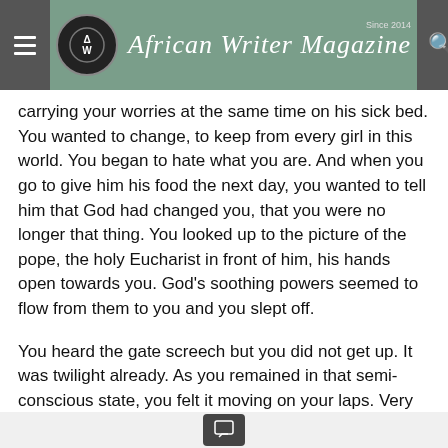African Writer Magazine — Since 2014
carrying your worries at the same time on his sick bed. You wanted to change, to keep from every girl in this world. You began to hate what you are. And when you go to give him his food the next day, you wanted to tell him that God had changed you, that you were no longer that thing. You looked up to the picture of the pope, the holy Eucharist in front of him, his hands open towards you. God's soothing powers seemed to flow from them to you and you slept off.
You heard the gate screech but you did not get up. It was twilight already. As you remained in that semi-conscious state, you felt it moving on your laps. Very close to your buttocks. It was cold and a